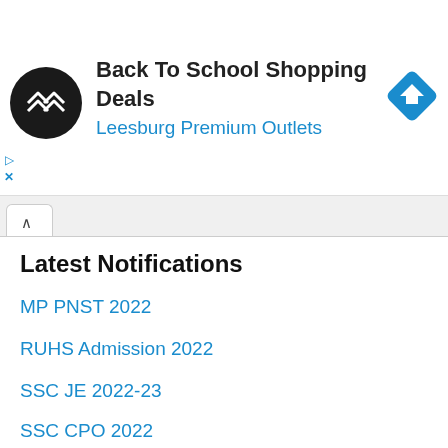[Figure (infographic): Advertisement banner for Back To School Shopping Deals at Leesburg Premium Outlets, with a circular black logo with white arrows, the ad title, blue subtitle, and a blue diamond direction icon on the right.]
Back To School Shopping Deals
Leesburg Premium Outlets
Latest Notifications
MP PNST 2022
RUHS Admission 2022
SSC JE 2022-23
SSC CPO 2022
SSC JHT 2022
HPPSC HPAS 2022
RTE Tamil Nadu 2022
CSJMU B.Ed  2022